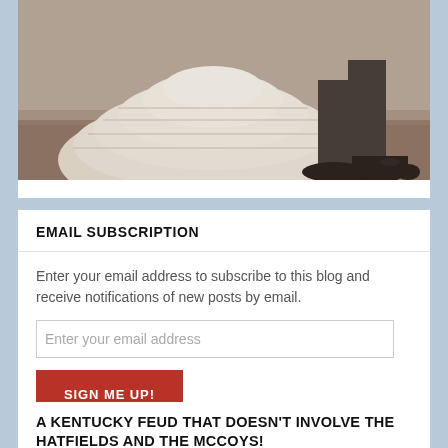[Figure (photo): Black and white / sepia-tone photograph showing the lower portion of a bride in a white layered dress and a man in dark shoes, standing outdoors on what appears to be dirt or grass.]
EMAIL SUBSCRIPTION
Enter your email address to subscribe to this blog and receive notifications of new posts by email.
Enter your email address
SIGN ME UP!
Join 3,619 other followers
A KENTUCKY FEUD THAT DOESN'T INVOLVE THE HATFIELDS AND THE MCCOYS!